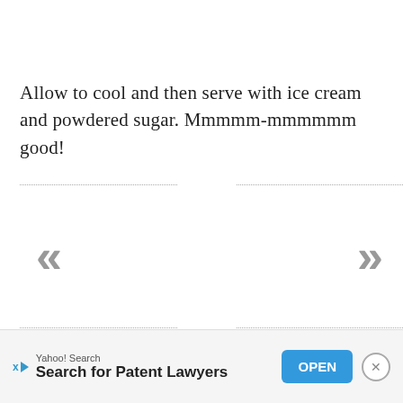Allow to cool and then serve with ice cream and powdered sugar. Mmmmm-mmmmmm good!
[Figure (other): Navigation arrows: left double-chevron (<<) and right double-chevron (>>) with dotted horizontal lines above and below, forming a page navigation widget]
[Figure (other): Advertisement bar: Yahoo! Search — Search for Patent Lawyers, with OPEN button and close X button]